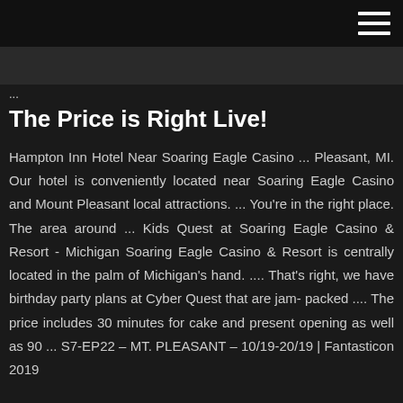...
The Price is Right Live!
Hampton Inn Hotel Near Soaring Eagle Casino ... Pleasant, MI. Our hotel is conveniently located near Soaring Eagle Casino and Mount Pleasant local attractions. ... You're in the right place. The area around ... Kids Quest at Soaring Eagle Casino & Resort - Michigan Soaring Eagle Casino & Resort is centrally located in the palm of Michigan's hand. .... That's right, we have birthday party plans at Cyber Quest that are jam- packed .... The price includes 30 minutes for cake and present opening as well as 90 ... S7-EP22 – MT. PLEASANT – 10/19-20/19 | Fantasticon 2019